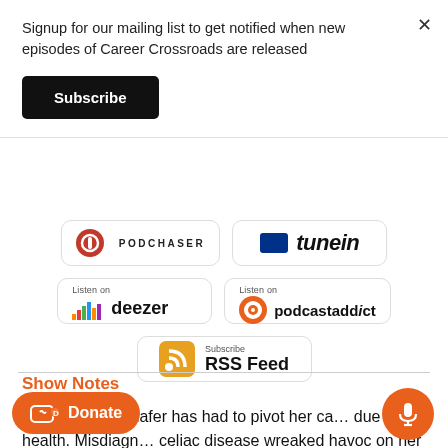Signup for our mailing list to get notified when new episodes of Career Crossroads are released
Subscribe
[Figure (logo): Podchaser podcast platform badge]
[Figure (logo): TuneIn podcast platform badge]
[Figure (logo): Deezer Listen on badge]
[Figure (logo): Podcast Addict Listen on badge]
[Figure (logo): RSS Feed subscribe badge]
Show Notes
#51 – Cayla Schafer has had to pivot her ca… due to her health. Misdiagn… celiac disease wreaked havoc on her life while she